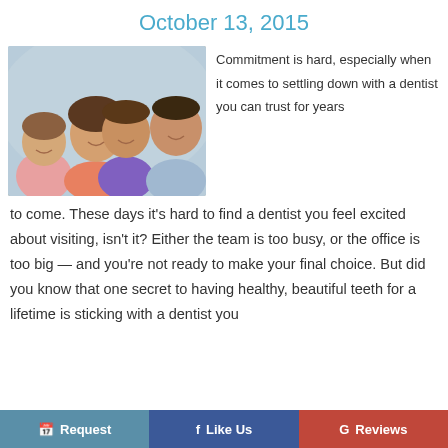October 13, 2015
[Figure (photo): Family photo showing a mother, father, young boy, and young girl smiling together]
Commitment is hard, especially when it comes to settling down with a dentist you can trust for years to come. These days it's hard to find a dentist you feel excited about visiting, isn't it? Either the team is too busy, or the office is too big — and you're not ready to make your final choice. But did you know that one secret to having healthy, beautiful teeth for a lifetime is sticking with a dentist you
Request   Like Us   Reviews